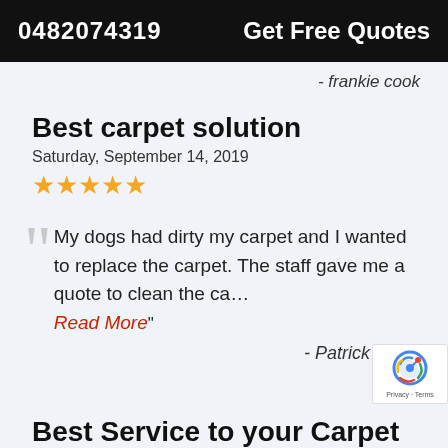0482074319   Get Free Quotes
- frankie cook
Best carpet solution
Saturday, September 14, 2019
★★★★★
My dogs had dirty my carpet and I wanted to replace the carpet. The staff gave me a quote to clean the ca… Read More"
- Patrick Blake
Best Service to your Carpet